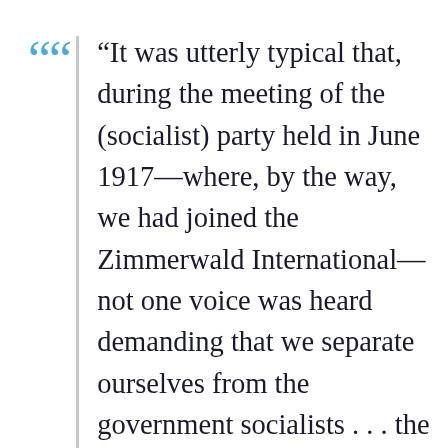“It was utterly typical that, during the meeting of the (socialist) party held in June 1917—where, by the way, we had joined the Zimmerwald International—not one voice was heard demanding that we separate ourselves from the government socialists . . . the road of democracy, it then seemed, was open and offered vast possibilities. We expected that we could avoid the worst outcome by using parliamentary methods. And what has been the